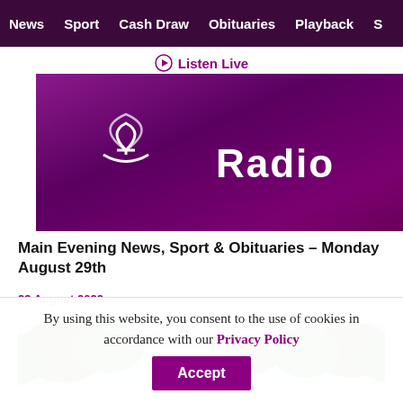News | Sport | Cash Draw | Obituaries | Playback | S
Listen Live
[Figure (logo): Purple radio station banner with white logo icon and 'Radio' text on dark purple/magenta gradient background]
Main Evening News, Sport & Obituaries – Monday August 29th
29 August 2022
[Figure (photo): Outdoor scene with green trees and power lines against a light sky]
By using this website, you consent to the use of cookies in accordance with our Privacy Policy
Accept